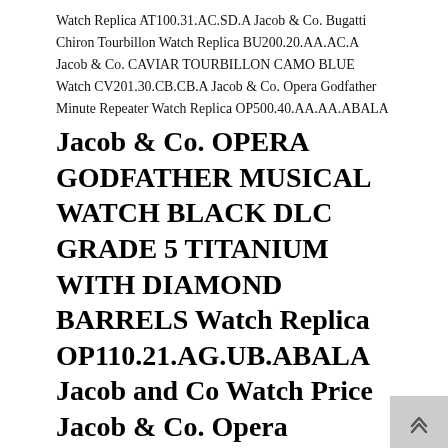Watch Replica AT100.31.AC.SD.A Jacob & Co. Bugatti Chiron Tourbillon Watch Replica BU200.20.AA.AC.A Jacob & Co. CAVIAR TOURBILLON CAMO BLUE Watch CV201.30.CB.CB.A Jacob & Co. Opera Godfather Minute Repeater Watch Replica OP500.40.AA.AA.ABALA
Jacob & Co. OPERA GODFATHER MUSICAL WATCH BLACK DLC GRADE 5 TITANIUM WITH DIAMOND BARRELS Watch Replica OP110.21.AG.UB.ABALA Jacob and Co Watch Price Jacob & Co. Opera Godfather Musical Watch Replica OP110.21.AG.AB.A Jacob and Co Watch Price Jacob & Co. Palatial Opera Flying Tourbillon Watch PO820.40.BD.MB.A jacob & co 5 time zone